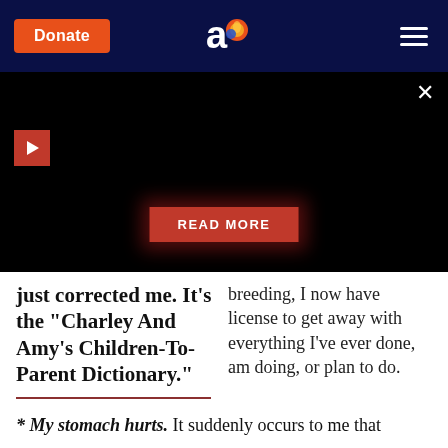Donate | [Aish logo] | [menu]
[Figure (screenshot): Black video player area with red play button, close X button, and READ MORE red button overlay]
just corrected me. It's the "Charley And Amy's Children-To-Parent Dictionary."
breeding, I now have license to get away with everything I've ever done, am doing, or plan to do.
* My stomach hurts. It suddenly occurs to me that